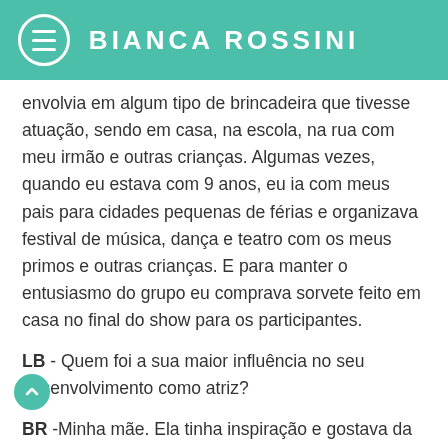BIANCA ROSSINI
envolvia em algum tipo de brincadeira que tivesse atuação, sendo em casa, na escola, na rua com meu irmão e outras crianças. Algumas vezes, quando eu estava com 9 anos, eu ia com meus pais para cidades pequenas de férias e organizava festival de música, dança e teatro com os meus primos e outras crianças. E para manter o entusiasmo do grupo eu comprava sorvete feito em casa no final do show para os participantes.
LB - Quem foi a sua maior influência no seu desenvolvimento como atriz?
BR -Minha mãe. Ela tinha inspiração e gostava da arte. Desde bem pequenininha ela me levou para aulas de atuações, música e dança. Ela estava sempre imitanto qualquer um da família, convidados ou outras vítimas. Eu sempre rolava no